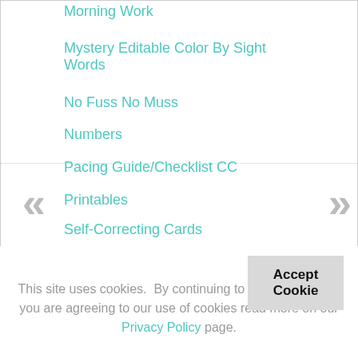Morning Work
Mystery Editable Color By Sight Words
No Fuss No Muss
Numbers
Pacing Guide/Checklist CC
Printables
Self-Correcting Cards
This site uses cookies.  By continuing to browse this site, you are agreeing to our use of cookies read more on our Privacy Policy page.